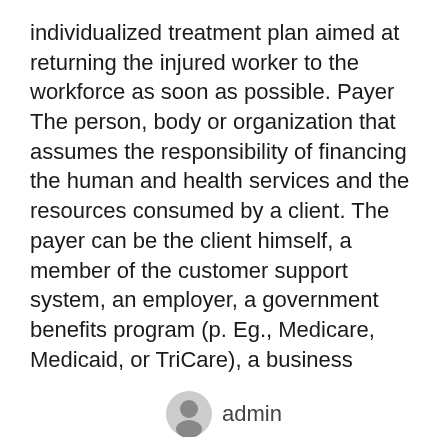individualized treatment plan aimed at returning the injured worker to the workforce as soon as possible. Payer The person, body or organization that assumes the responsibility of financing the human and health services and the resources consumed by a client. The payer can be the client himself, a member of the customer support system, an employer, a government benefits program (p. Eg., Medicare, Medicaid, or TriCare), a business insurance service, or a charity.
This helps ensure that the injured worker has timely and coordinated access to medically appropriate levels of health services and support and continuity of care through our ongoing assessment of customer needs, while checking claim costs and ensuring that treatment goals are achieved. Gateway Health Management
admin